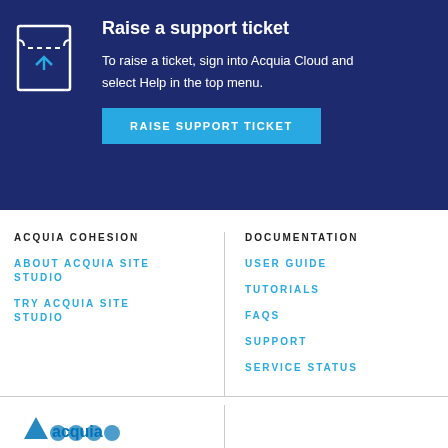[Figure (illustration): White outline icon of a ticket/receipt with an upward arrow, on dark blue background]
Raise a support ticket
To raise a ticket, sign into Acquia Cloud and select Help in the top menu.
RAISE SUPPORT TICKET
ACQUIA COHESION
ABOUT ACQUIA SITE STUDIO
TRY ACQUIA SITE STUDIO
DOCUMENTATION
USER GUIDE
TUTORIALS
FAQS
SUPPORT
SERVICE STATUS
[Figure (logo): Acquia logo partially visible at bottom left]